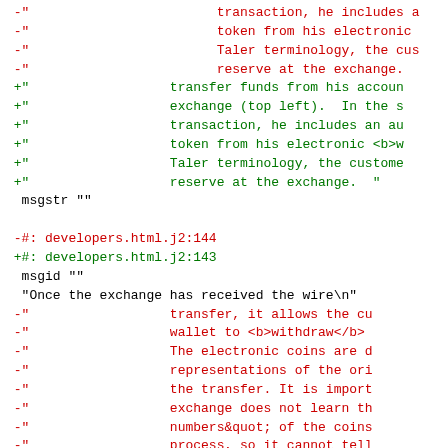Diff output showing changes to a gettext PO file with red removed lines and green added lines, including file references developers.html.j2:144 and developers.html.j2:143